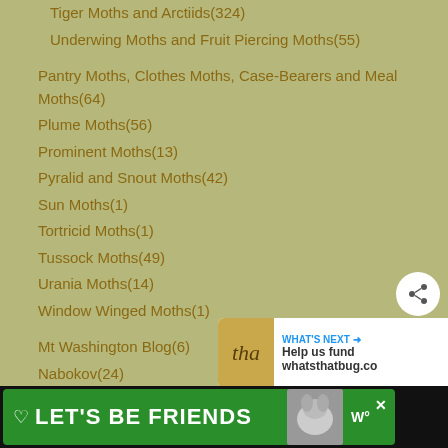Tiger Moths and Arctiids(324)
Underwing Moths and Fruit Piercing Moths(55)
Pantry Moths, Clothes Moths, Case-Bearers and Meal Moths(64)
Plume Moths(56)
Prominent Moths(13)
Pyralid and Snout Moths(42)
Sun Moths(1)
Tortricid Moths(1)
Tussock Moths(49)
Urania Moths(14)
Window Winged Moths(1)
Mt Washington Blog(6)
Nabokov(24)
Nests(154)
Neuropterans: Lacewings, Antlions, and Owlflies(…)
Opiliones and Harvestmen(75)
Orthoptera(7)
[Figure (screenshot): Promotional banner: LET'S BE FRIENDS with dog photo and close button]